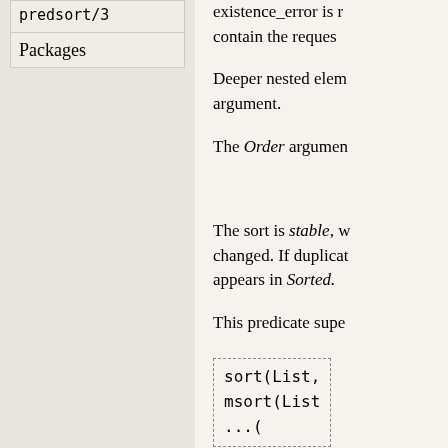predsort/3
Packages
existence_error is raised if the list does not contain the requested element.
Deeper nested elements are passed as the argument.
The Order argument.
The sort is stable, while the order is not changed. If duplicates appear, the first appears in Sorted.
This predicate supe
sort(List,
msort(List
...